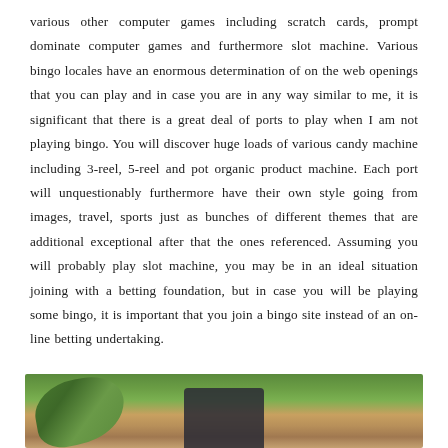various other computer games including scratch cards, prompt dominate computer games and furthermore slot machine. Various bingo locales have an enormous determination of on the web openings that you can play and in case you are in any way similar to me, it is significant that there is a great deal of ports to play when I am not playing bingo. You will discover huge loads of various candy machine including 3-reel, 5-reel and pot organic product machine. Each port will unquestionably furthermore have their own style going from images, travel, sports just as bunches of different themes that are additional exceptional after that the ones referenced. Assuming you will probably play slot machine, you may be in an ideal situation joining with a betting foundation, but in case you will be playing some bingo, it is important that you join a bingo site instead of an on-line betting undertaking.
[Figure (photo): Partial image at bottom of page showing green plants/succulents on a wooden surface with what appears to be a dark device]